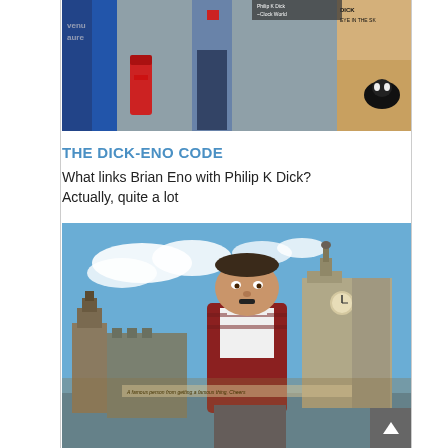[Figure (photo): Collage image showing a person standing among various book/album covers including Philip K Dick related titles, a red post box, and a cat]
THE DICK-ENO CODE
What links Brian Eno with Philip K Dick? Actually, quite a lot
[Figure (photo): Collage image showing a man's face superimposed on a vintage postcard of Liverpool waterfront with the Liver Building, set against a blue sky with clouds]